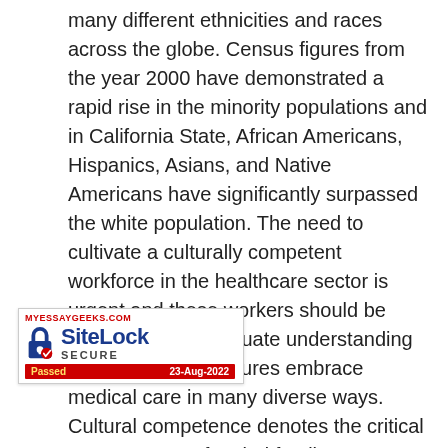many different ethnicities and races across the globe. Census figures from the year 2000 have demonstrated a rapid rise in the minority populations and in California State, African Americans, Hispanics, Asians, and Native Americans have significantly surpassed the white population. The need to cultivate a culturally competent workforce in the healthcare sector is urgent and these workers should be equipped with adequate understanding of how different cultures embrace medical care in many diverse ways. Cultural competence denotes the critical unawareness of varied family structures, belief systems, cultural biases, ethnicities, and social cadre influence how people experience illness, respond to treatment or adhere to medical guidance. Salient differences between people derived from these variables produce diverse outcomes in the healthcare systems and institutions have to take note of their influence to facilitate a workforce that can deal with the effects into the future.
[Figure (other): SiteLock security badge showing MYESSAYGEEKS.COM, SiteLock SECURE logo with padlock icon, and Passed 23-Aug-2022 red banner.]